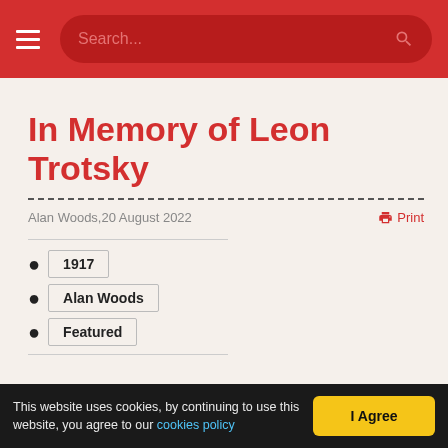Search...
In Memory of Leon Trotsky
Alan Woods, 20 August 2022
Print
1917
Alan Woods
Featured
This website uses cookies, by continuing to use this website, you agree to our cookies policy   I Agree